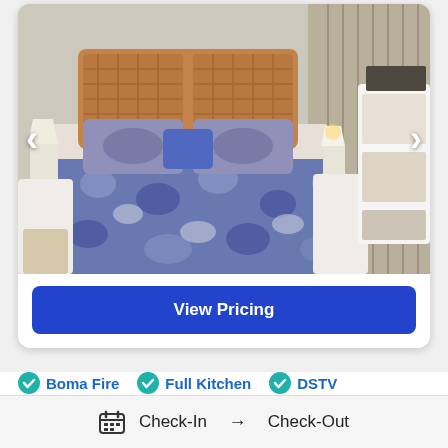[Figure (photo): Hotel/vacation rental bedroom with a large bed covered in blue and white patterned bedding, rattan/bamboo headboard, white bedside tables with lamps, and white shelving unit. Navigation arrows on left and right sides of the image.]
View Pricing
Boma Fire
Full Kitchen
DSTV
Private Bathroom
Babysitting Service
Check-In → Check-Out